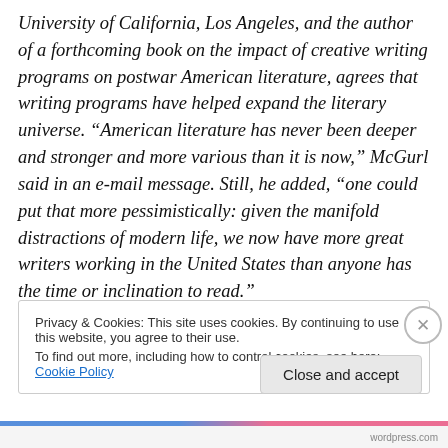University of California, Los Angeles, and the author of a forthcoming book on the impact of creative writing programs on postwar American literature, agrees that writing programs have helped expand the literary universe. “American literature has never been deeper and stronger and more various than it is now,” McGurl said in an e-mail message. Still, he added, “one could put that more pessimistically: given the manifold distractions of modern life, we now have more great writers working in the United States than anyone has the time or inclination to read.”
Privacy & Cookies: This site uses cookies. By continuing to use this website, you agree to their use.
To find out more, including how to control cookies, see here: Cookie Policy
Close and accept